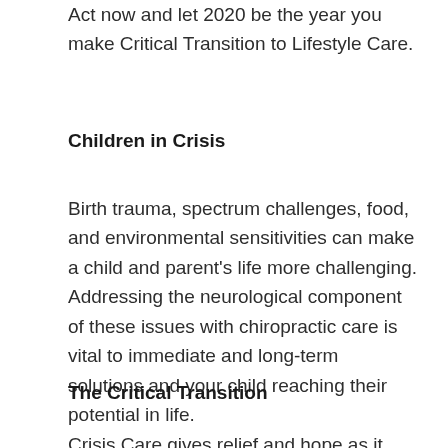Act now and let 2020 be the year you make Critical Transition to Lifestyle Care.
Children in Crisis
Birth trauma, spectrum challenges, food, and environmental sensitivities can make a child and parent's life more challenging. Addressing the neurological component of these issues with chiropractic care is vital to immediate and long-term solutions and your child reaching their potential in life.
The Critical Transition
Crisis Care gives relief and hope as it takes the